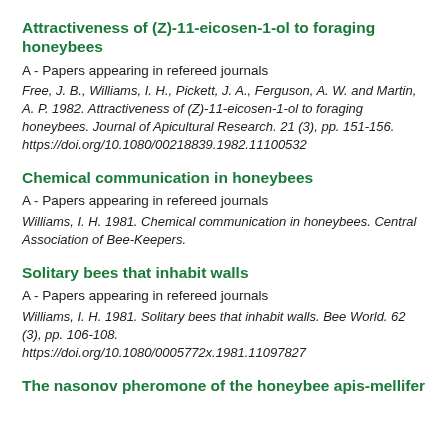Attractiveness of (Z)-11-eicosen-1-ol to foraging honeybees
A - Papers appearing in refereed journals
Free, J. B., Williams, I. H., Pickett, J. A., Ferguson, A. W. and Martin, A. P. 1982. Attractiveness of (Z)-11-eicosen-1-ol to foraging honeybees. Journal of Apicultural Research. 21 (3), pp. 151-156. https://doi.org/10.1080/00218839.1982.11100532
Chemical communication in honeybees
A - Papers appearing in refereed journals
Williams, I. H. 1981. Chemical communication in honeybees. Central Association of Bee-Keepers.
Solitary bees that inhabit walls
A - Papers appearing in refereed journals
Williams, I. H. 1981. Solitary bees that inhabit walls. Bee World. 62 (3), pp. 106-108. https://doi.org/10.1080/0005772x.1981.11097827
The nasonov pheromone of the honeybee apis-mellifer